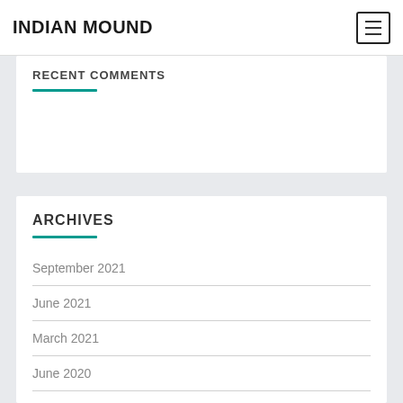INDIAN MOUND
RECENT COMMENTS
ARCHIVES
September 2021
June 2021
March 2021
June 2020
May 2020
April 2020